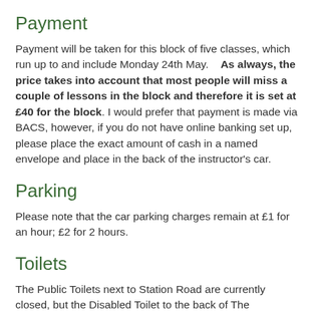Payment
Payment will be taken for this block of five classes, which run up to and include Monday 24th May.    As always, the price takes into account that most people will miss a couple of lessons in the block and therefore it is set at £40 for the block. I would prefer that payment is made via BACS, however, if you do not have online banking set up, please place the exact amount of cash in a named envelope and place in the back of the instructor's car.
Parking
Please note that the car parking charges remain at £1 for an hour; £2 for 2 hours.
Toilets
The Public Toilets next to Station Road are currently closed, but the Disabled Toilet to the back of The